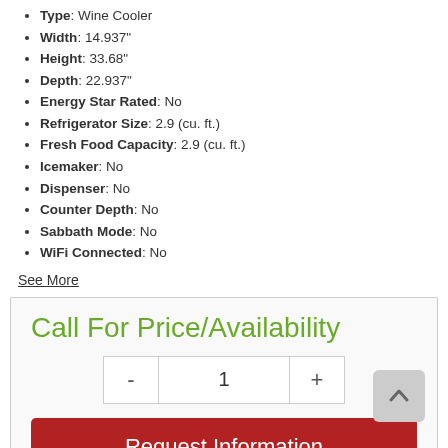Type: Wine Cooler
Width: 14.937"
Height: 33.68"
Depth: 22.937"
Energy Star Rated: No
Refrigerator Size: 2.9 (cu. ft.)
Fresh Food Capacity: 2.9 (cu. ft.)
Icemaker: No
Dispenser: No
Counter Depth: No
Sabbath Mode: No
WiFi Connected: No
See More
Call For Price/Availability
1
Request Information
Share This Item